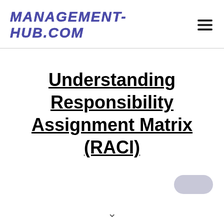MANAGEMENT-HUB.COM
Understanding Responsibility Assignment Matrix (RACI)